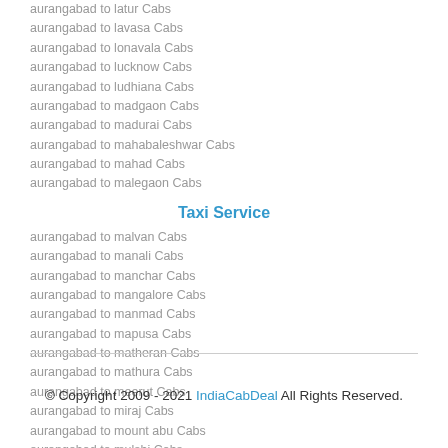aurangabad to latur Cabs
aurangabad to lavasa Cabs
aurangabad to lonavala Cabs
aurangabad to lucknow Cabs
aurangabad to ludhiana Cabs
aurangabad to madgaon Cabs
aurangabad to madurai Cabs
aurangabad to mahabaleshwar Cabs
aurangabad to mahad Cabs
aurangabad to malegaon Cabs
Taxi Service
aurangabad to malvan Cabs
aurangabad to manali Cabs
aurangabad to manchar Cabs
aurangabad to mangalore Cabs
aurangabad to manmad Cabs
aurangabad to mapusa Cabs
aurangabad to matheran Cabs
aurangabad to mathura Cabs
aurangabad to meerut Cabs
aurangabad to miraj Cabs
aurangabad to mount abu Cabs
aurangabad to mulshi Cabs
© Copyright 2009 - 2021 IndiaCabDeal All Rights Reserved.